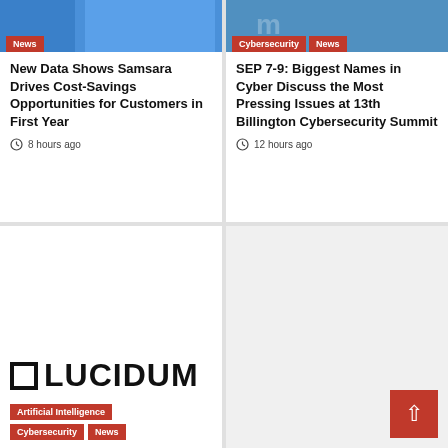[Figure (photo): Blue image banner for top-left card with News tag]
News
New Data Shows Samsara Drives Cost-Savings Opportunities for Customers in First Year
8 hours ago
[Figure (photo): Blue image banner for top-right card with Cybersecurity and News tags]
Cybersecurity
News
SEP 7-9: Biggest Names in Cyber Discuss the Most Pressing Issues at 13th Billington Cybersecurity Summit
12 hours ago
[Figure (logo): Lucidum logo - black square icon with LUCIDUM text]
Artificial Intelligence
Cybersecurity
News